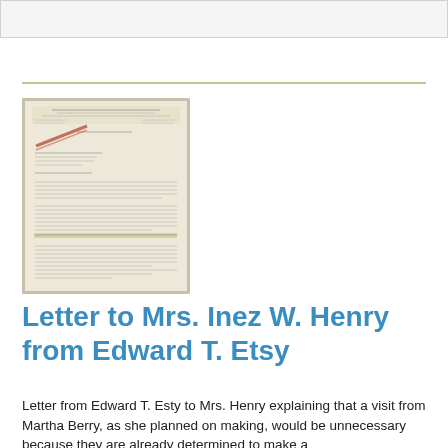[Figure (photo): Scanned image of a typed letter on Yoakum, Rice, Chase & Gresty letterhead]
Letter to Mrs. Inez W. Henry from Edward T. Etsy
Letter from Edward T. Esty to Mrs. Henry explaining that a visit from Martha Berry, as she planned on making, would be unnecessary because they are already determined to make a